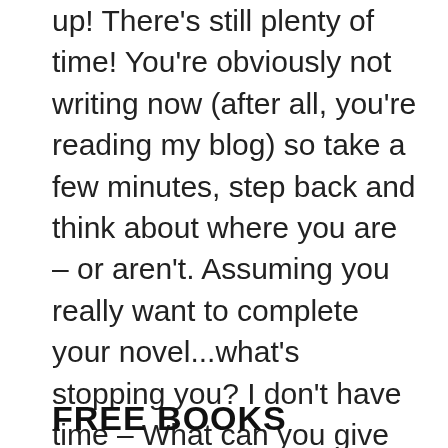up! There's still plenty of time! You're obviously not writing now (after all, you're reading my blog) so take a few minutes, step back and think about where you are – or aren't. Assuming you really want to complete your novel...what's stopping you? I don't have time – What can you give up for the next fifteen days? Television? Movies? Shopping? Work? (Okay, maybe not that last one but if you've got spare vacation days perhaps now is the time to use them). How about sleep? Can you get up an hour earlier, go to bed an hour later? It's always possible to find something to give up or postpone – if you really want to. It's not good enough – Are you giving in to your internal editor? Are you spending too long crafting the perfect sentence? Don't worry about quality yet. There'll be time to revise and rewrite later, NaNoWriMo is an excuse to vomit whatever you can … Read More
FREE BOOKS